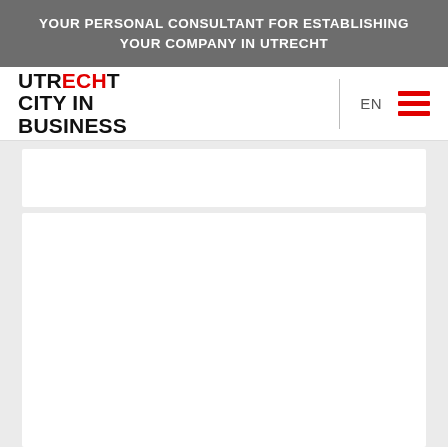YOUR PERSONAL CONSULTANT FOR ESTABLISHING YOUR COMPANY IN UTRECHT
[Figure (logo): Utrecht City in Business logo — black bold text with red 'E' and 'CH' in UTR-E-CHT, three lines: UTRECHT / CITY IN / BUSINESS]
EN
[Figure (other): Hamburger menu icon with three red horizontal bars]